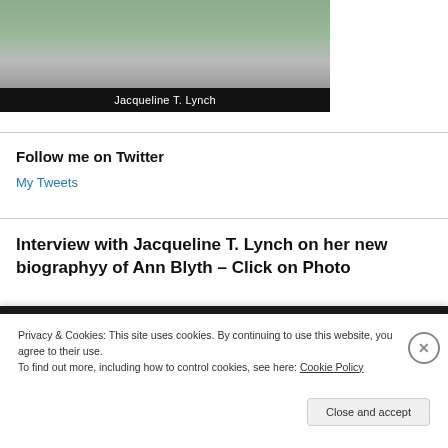[Figure (photo): Book cover image with green/grey tones at top, black label bar at bottom reading 'Jacqueline T. Lynch']
Follow me on Twitter
My Tweets
Interview with Jacqueline T. Lynch on her new biographyy of Ann Blyth – Click on Photo
Privacy & Cookies: This site uses cookies. By continuing to use this website, you agree to their use.
To find out more, including how to control cookies, see here: Cookie Policy